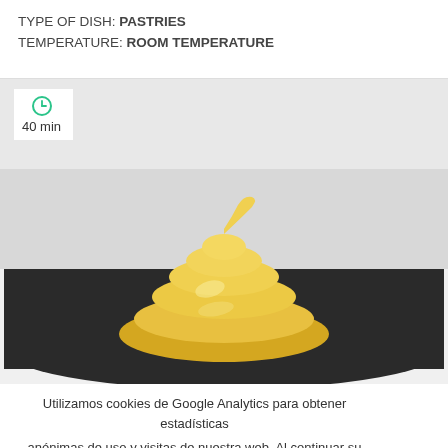TYPE OF DISH: PASTRIES
TEMPERATURE: ROOM TEMPERATURE
[Figure (photo): A clock icon and '40 min' label overlaid on top-left of a food photo showing a yellow pastry cream puff/choux piped in a swirl shape on a dark slate board]
Utilizamos cookies de Google Analytics para obtener estadísticas anónimas de uso y visitas de nuestra web. Al continuar su visita en sitio, acepta el uso de cookies.
ACEPTAR
Más información